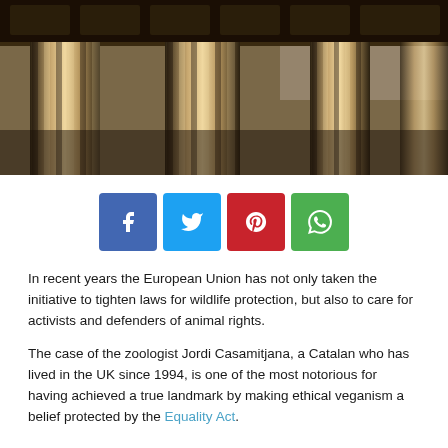[Figure (photo): Close-up photo of classical Greek or Roman style architectural columns, shot from a low angle against a cloudy sky, with a sepia/dark warm tone.]
[Figure (infographic): Social media share buttons: Facebook (blue), Twitter (light blue), Pinterest (red), WhatsApp (green), each with their respective icons.]
In recent years the European Union has not only taken the initiative to tighten laws for wildlife protection, but also to care for activists and defenders of animal rights.
The case of the zoologist Jordi Casamitjana, a Catalan who has lived in the UK since 1994, is one of the most notorious for having achieved a true landmark by making ethical veganism a belief protected by the Equality Act.